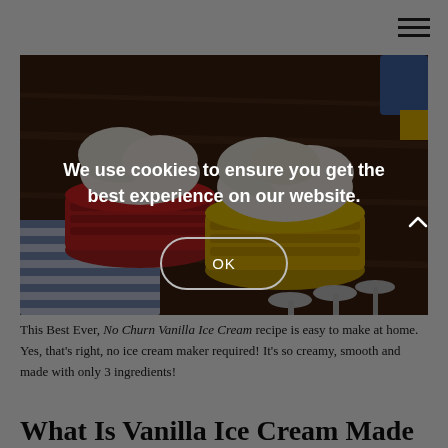[Figure (photo): Photo of two ceramic bowls (one red, one yellow) filled with scoops of vanilla ice cream, placed on a dark wooden surface with a striped blue and white cloth and spoons]
This Best Ever, No Churn Vanilla Ice Cream recipe is easy to make at home. Yes, that's right, no ice cream maker required! It's so creamy, smooth and made with only 3 ingredients!
We use cookies to ensure you get the best experience on our website.
What Is Vanilla Ice Cream Made